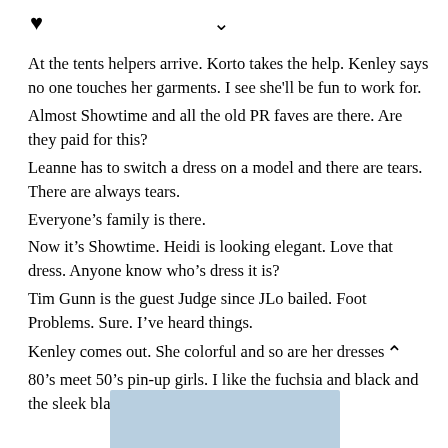♥  ✓
At the tents helpers arrive. Korto takes the help. Kenley says no one touches her garments. I see she'll be fun to work for.
Almost Showtime and all the old PR faves are there. Are they paid for this?
Leanne has to switch a dress on a model and there are tears. There are always tears.
Everyone's family is there.
Now it's Showtime. Heidi is looking elegant. Love that dress. Anyone know who's dress it is?
Tim Gunn is the guest Judge since JLo bailed. Foot Problems. Sure. I've heard things.
Kenley comes out. She colorful and so are her dresses. 80's meet 50's pin-up girls. I like the fuchsia and black and the sleek black and the cream with floral.
[Figure (photo): Partial blue/grey photo visible at the bottom of the page]